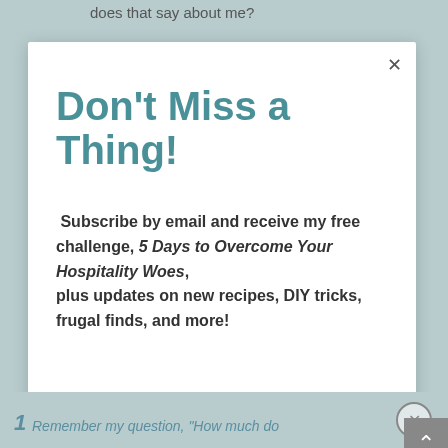does that say about me?
Don't Miss a Thing!
Subscribe by email and receive my free challenge, 5 Days to Overcome Your Hospitality Woes, plus updates on new recipes, DIY tricks, frugal finds, and more!
Email address
SUBSCRIBE
Remember my question, "How much do